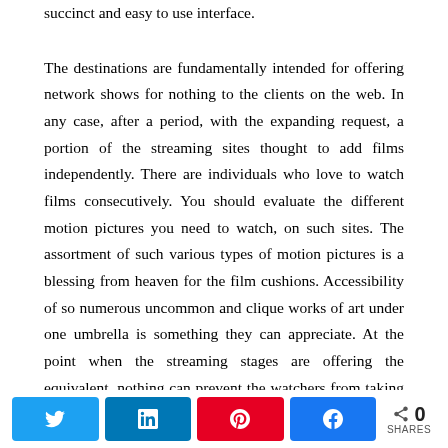succinct and easy to use interface.
The destinations are fundamentally intended for offering network shows for nothing to the clients on the web. In any case, after a period, with the expanding request, a portion of the streaming sites thought to add films independently. There are individuals who love to watch films consecutively. You should evaluate the different motion pictures you need to watch, on such sites. The assortment of such various types of motion pictures is a blessing from heaven for the film cushions. Accessibility of so numerous uncommon and clique works of art under one umbrella is something they can appreciate. At the point when the streaming stages are offering the equivalent, nothing can prevent the watchers from taking the offer. All these streaming stages have some
[Figure (other): Social sharing bar with Twitter, LinkedIn, Pinterest, and Facebook buttons, plus a share count showing 0 SHARES]